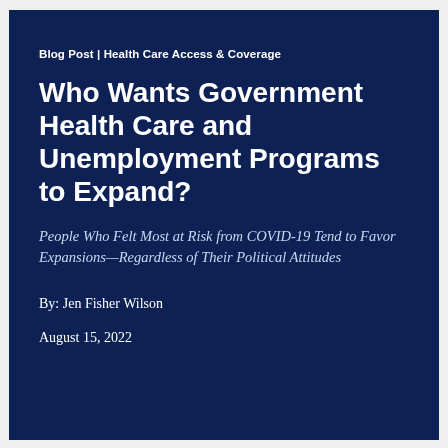Blog Post | Health Care Access & Coverage
Who Wants Government Health Care and Unemployment Programs to Expand?
People Who Felt Most at Risk from COVID-19 Tend to Favor Expansions—Regardless of Their Political Attitudes
By: Jen Fisher Wilson
August 15, 2022